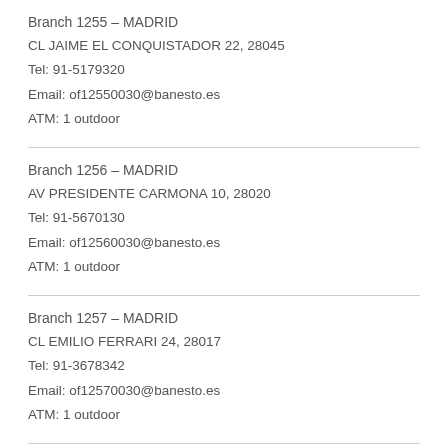Branch 1255 – MADRID
CL JAIME EL CONQUISTADOR 22, 28045
Tel: 91-5179320
Email: of12550030@banesto.es
ATM: 1 outdoor
Branch 1256 – MADRID
AV PRESIDENTE CARMONA 10, 28020
Tel: 91-5670130
Email: of12560030@banesto.es
ATM: 1 outdoor
Branch 1257 – MADRID
CL EMILIO FERRARI 24, 28017
Tel: 91-3678342
Email: of12570030@banesto.es
ATM: 1 outdoor
Branch 1269 – MADRID